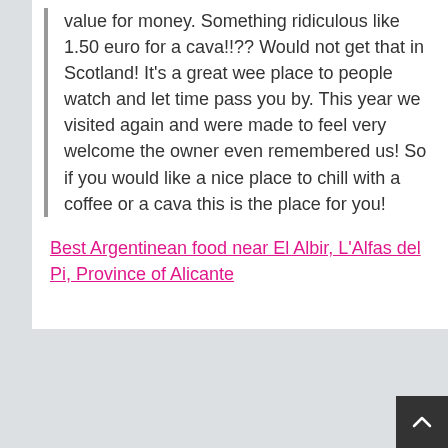value for money. Something ridiculous like 1.50 euro for a cava!!?? Would not get that in Scotland! It's a great wee place to people watch and let time pass you by. This year we visited again and were made to feel very welcome the owner even remembered us! So if you would like a nice place to chill with a coffee or a cava this is the place for you!
Best Argentinean food near El Albir, L'Alfas del Pi, Province of Alicante